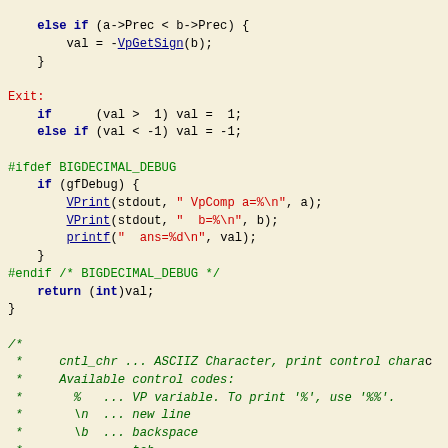Source code snippet showing C code for VpComp function, a block comment for cntl_chr, and a #ifdef BIGDECIMAL_ENABLE_VPRINT section.